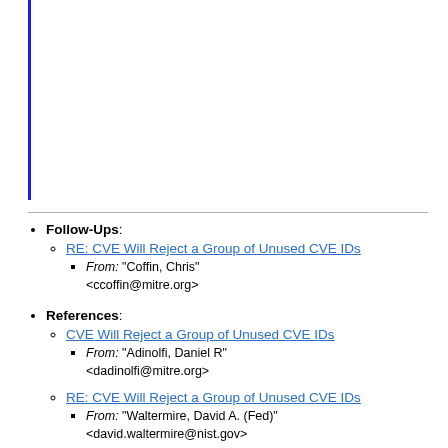Follow-Ups: RE: CVE Will Reject a Group of Unused CVE IDs — From: "Coffin, Chris" <ccoffin@mitre.org>
References: CVE Will Reject a Group of Unused CVE IDs — From: "Adinolfi, Daniel R" <dadinolfi@mitre.org>
RE: CVE Will Reject a Group of Unused CVE IDs — From: "Waltermire, David A. (Fed)" <david.waltermire@nist.gov>